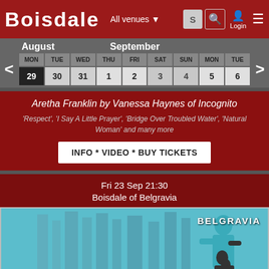BOISDALE   All venues   Login
[Figure (screenshot): Boisdale website calendar showing August and September dates. August: MON 29, TUE 30, WED 31. September: THU 1, FRI 2, SAT 3, SUN 4, MON 5, TUE 6.]
Aretha Franklin by Vanessa Haynes of Incognito
'Respect', 'I Say A Little Prayer', 'Bridge Over Troubled Water', 'Natural Woman' and many more
INFO * VIDEO * BUY TICKETS
Fri 23 Sep 21:30
Boisdale of Belgravia
[Figure (photo): Concert promotional image with cyan/teal background, showing a female singer in a teal outfit with the word BELGRAVIA in white text on the upper right.]